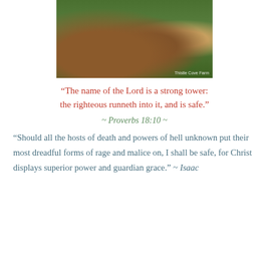[Figure (photo): A photo of brown horses/animals lying in green grass, with a watermark reading 'Thistle Cove Farm' in the bottom right corner.]
“The name of the Lord is a strong tower: the righteous runneth into it, and is safe.”
~ Proverbs 18:10 ~
“Should all the hosts of death and powers of hell unknown put their most dreadful forms of rage and malice on, I shall be safe, for Christ displays superior power and guardian grace.” ~ Isaac